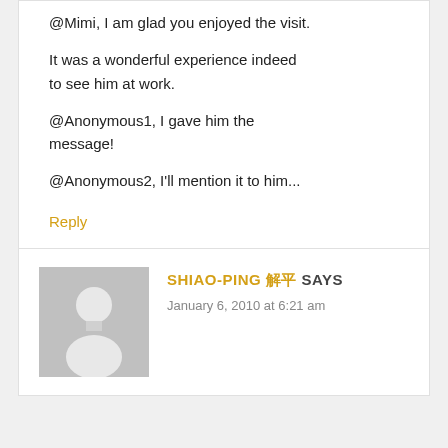@Mimi, I am glad you enjoyed the visit. It was a wonderful experience indeed to see him at work. @Anonymous1, I gave him the message! @Anonymous2, I'll mention it to him...
Reply
SHIAO-PING 聖平 SAYS
January 6, 2010 at 6:21 am